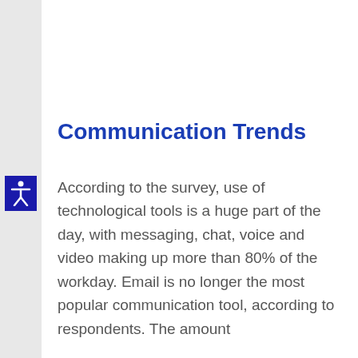Communication Trends
According to the survey, use of technological tools is a huge part of the day, with messaging, chat, voice and video making up more than 80% of the workday. Email is no longer the most popular communication tool, according to respondents. The amount